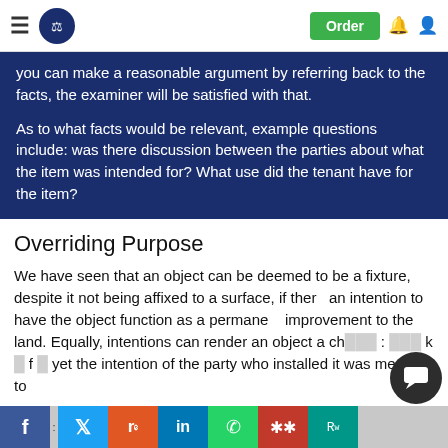Navigation bar with hamburger menu, shield logo, Order button, bell icon, user icon
you can make a reasonable argument by referring back to the facts, the examiner will be satisfied with that.
As to what facts would be relevant, example questions include: was there discussion between the parties about what the item was intended for? What use did the tenant have for the item?
Overriding Purpose
We have seen that an object can be deemed to be a fixture, despite it not being affixed to a surface, if there an intention to have the object function as a permanent improvement to the land. Equally, intentions can render an object a ch… k… f… yet the intention of the party who installed it was merely to